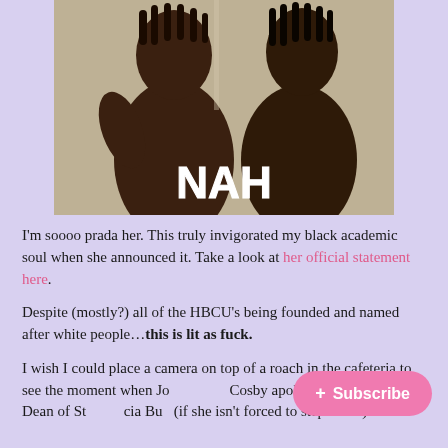[Figure (photo): A meme-style photo of two shirtless young Black men posing, with the bold white text 'NAH' overlaid at the bottom center of the image.]
I'm soooo prada her. This truly invigorated my black academic soul when she announced it. Take a look at her official statement here.
Despite (mostly?) all of the HBCU's being founded and named after white people…this is lit as fuck.
I wish I could place a camera on top of a roach in the cafeteria to see the moment when Jo Cosby apologist and Howard Dean of Students, Patricia Buch (if she isn't forced to step down)